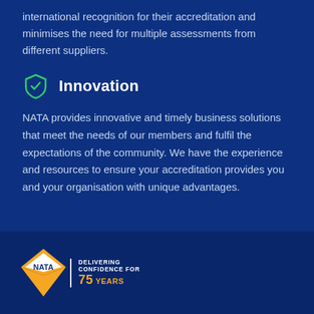international recognition for their accreditation and minimises the need for multiple assessments from different suppliers.
Innovation
NATA provides innovative and timely business solutions that meet the needs of our members and fulfil the expectations of the community. We have the experience and resources to ensure your accreditation provides you and your organisation with unique advantages.
[Figure (logo): NATA logo with diamond/chevron shape in orange and white text reading NATA, beside text DELIVERING CONFIDENCE FOR 75 YEARS]